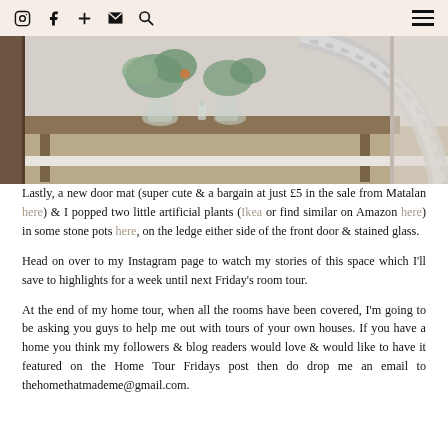Instagram Facebook + Mail Search [hamburger menu]
[Figure (photo): Interior photo showing a wooden console table with glass vases containing eucalyptus and artificial plants, with a silver/chrome curved lamp or mirror frame in the foreground, and a white-painted wooden staircase banister visible in the background.]
Lastly, a new door mat (super cute & a bargain at just £5 in the sale from Matalan here) & I popped two little artificial plants (Ikea or find similar on Amazon here) in some stone pots here, on the ledge either side of the front door & stained glass.
Head on over to my Instagram page to watch my stories of this space which I'll save to highlights for a week until next Friday's room tour.
At the end of my home tour, when all the rooms have been covered, I'm going to be asking you guys to help me out with tours of your own houses. If you have a home you think my followers & blog readers would love & would like to have it featured on the Home Tour Fridays post then do drop me an email to thehomethatmademe@gmail.com.